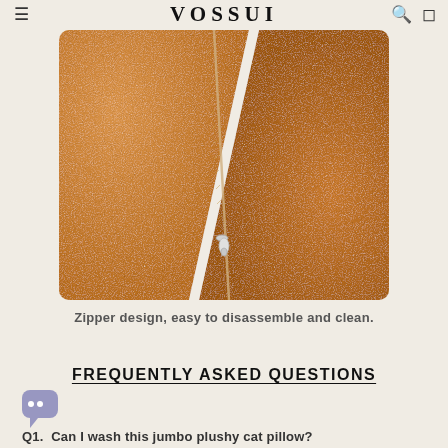VOSSUI
[Figure (photo): Close-up photo of tan/caramel leather-like fabric with a diagonal zipper and silver zipper pull, showing zipper design detail on a cat pillow product.]
Zipper design, easy to disassemble and clean.
FREQUENTLY ASKED QUESTIONS
Q1. Can I wash this jumbo plushy cat pillow?